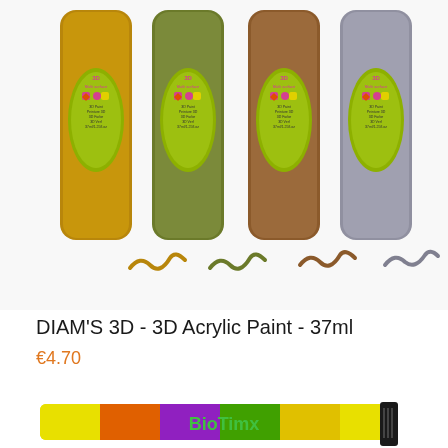[Figure (photo): Four bottles of DIAM'S 3D Acrylic Paint in metallic colors (gold, olive/green, brown/copper, silver/grey) with yellow-green oval labels showing the 3D brand logo. Small wavy paint strokes are shown beneath each bottle.]
DIAM'S 3D - 3D Acrylic Paint - 37ml
€4.70
[Figure (photo): Partial view of another product at the bottom of the page — appears to be a BioTixx or similar product tube with colorful packaging (yellow, orange, purple, green) and a black brush/comb accessory.]